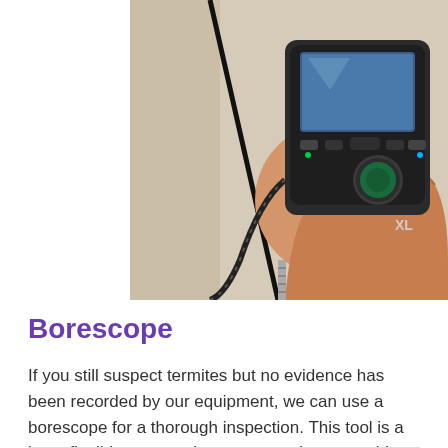[Figure (photo): A person's hand holding a borescope inspection device with a flexible cable extending from it, in a beige/neutral background]
Borescope
If you still suspect termites but no evidence has been recorded by our equipment, we can use a borescope for a thorough inspection. This tool is a long, flexible camera that we use to inspect voids, cavities, and walls.